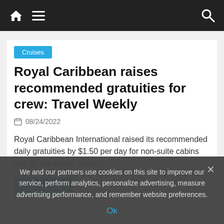Navigation bar with home icon, menu icon, and search icon
Cruises
Royal Caribbean raises recommended gratuities for crew: Travel Weekly
08/24/2022
Royal Caribbean International raised its recommended daily gratuities by $1.50 per day for non-suite cabins and $1 for suites. Starting
Read more
We and our partners use cookies on this site to improve our service, perform analytics, personalize advertising, measure advertising performance, and remember website preferences.
Ok